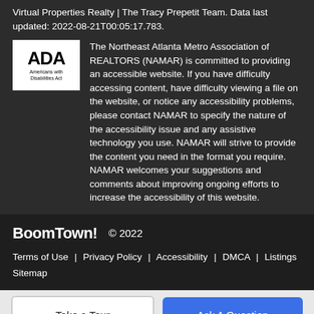Virtual Properties Realty | The Tracy Prepetit Team. Data last updated: 2022-08-21T00:05:17.783.
[Figure (logo): ADA Americans with Disabilities Act logo in black and white]
The Northeast Atlanta Metro Association of REALTORS (NAMAR) is committed to providing an accessible website. If you have difficulty accessing content, have difficulty viewing a file on the website, or notice any accessibility problems, please contact NAMAR to specify the nature of the accessibility issue and any assistive technology you use. NAMAR will strive to provide the content you need in the format you require. NAMAR welcomes your suggestions and comments about improving ongoing efforts to increase the accessibility of this website.
BoomTown! © 2022
Terms of Use | Privacy Policy | Accessibility | DMCA | Listings Sitemap
Take a Tour    Ask A Question